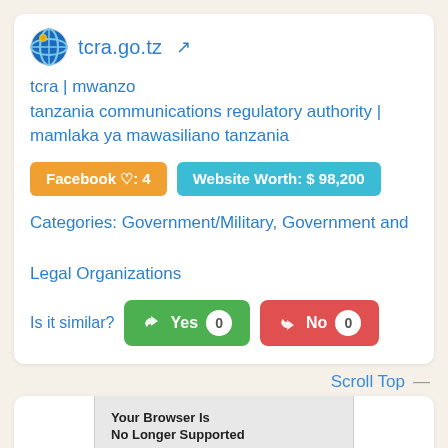tcra.go.tz
tcra | mwanzo
tanzania communications regulatory authority | mamlaka ya mawasiliano tanzania
Facebook ♡: 4
Website Worth: $ 98,200
Categories: Government/Military, Government and Legal Organizations
Is it similar? Yes 0  No 0
Scroll Top
[Figure (screenshot): Screenshot of tcra.go.tz website showing 'Your Browser Is No Longer Supported' message with browser update options for Google Chrome and Safari (Mac)]